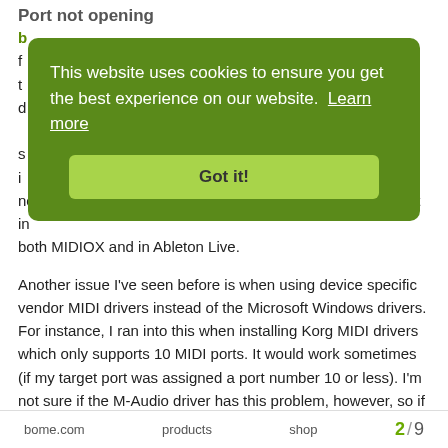Port not opening
...probably not the issue though since as you say, you can open the port in both MIDIOX and in Ableton Live.
[Figure (screenshot): Cookie consent banner overlay with green background. Text reads: 'This website uses cookies to ensure you get the best experience on our website. Learn more' with a 'Got it!' button.]
Another issue I've seen before is when using device specific vendor MIDI drivers instead of the Microsoft Windows drivers. For instance, I ran into this when installing Korg MIDI drivers which only supports 10 MIDI ports. It would work sometimes (if my target port was assigned a port number 10 or less). I'm not sure if the M-Audio driver has this problem, however, so if you have it installed, try un-installing it and see if that helps. How many MIDI ports (including virtual MIDI ports) are on your system? If MT pro is consuming 9, then you might also reduce
bome.com    products    shop    2 / 9